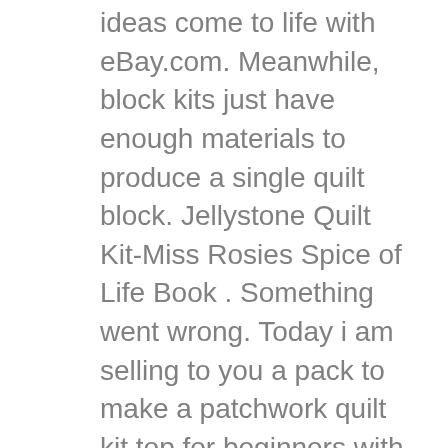ideas come to life with eBay.com. Meanwhile, block kits just have enough materials to produce a single quilt block. Jellystone Quilt Kit-Miss Rosies Spice of Life Book . Something went wrong. Today i am selling to you a pack to make a patchwork quilt kit top for beginners with step by step illustrated instructions featuring eclectic vintage prints. Friday: 9am-5pm 99 Another perk of block kits is that you can start with beginner blocks that are easy to put together and then progress to more advanced blocks to finish your quilt as you become more confident. Kyoto Steps Pink/red/Painted Meadow Twin size kit . Brother Creative Quilt Kit Innov-is 1100 1300 Series Sewing Motion Grip. We offer a huge selection of cotton fabrics in a dazzling spectrum of prints, solids and batiks, a vast array of precut fabric collections, quilt kits, patterns, tools and notions. 1 bid. Ending Sunday at 7:24PM GMT 3d 18h. Pre-cut kits may also cost